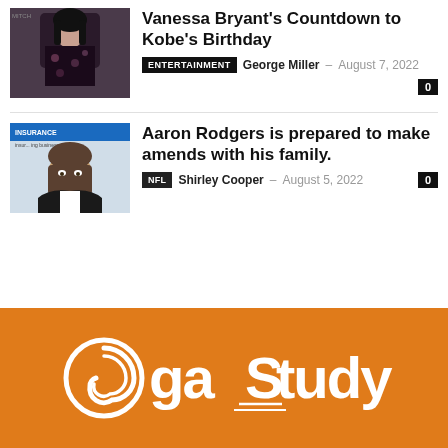[Figure (photo): Photo of Vanessa Bryant in a dark floral outfit]
Vanessa Bryant's Countdown to Kobe's Birthday
ENTERTAINMENT  George Miller – August 7, 2022  0
[Figure (photo): Photo of Aaron Rodgers with beard in dark jacket, insurance advertisement banner visible behind]
Aaron Rodgers is prepared to make amends with his family.
NFL  Shirley Cooper – August 5, 2022  0
[Figure (logo): gastudy logo in white on orange background with swirl icon]